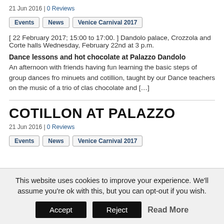21 Jun 2016 | 0 Reviews
Events
News
Venice Carnival 2017
[ 22 February 2017; 15:00 to 17:00. ] Dandolo palace, Crozzola and Corte halls Wednesday, February 22nd at 3 p.m.
Dance lessons and hot chocolate at Palazzo Dandolo
An afternoon with friends having fun learning the basic steps of group dances from minuets and cotillion, taught by our Dance teachers on the music of a trio of class chocolate and […]
COTILLON AT PALAZZO
21 Jun 2016 | 0 Reviews
Events
News
Venice Carnival 2017
This website uses cookies to improve your experience. We'll assume you're ok with this, but you can opt-out if you wish.